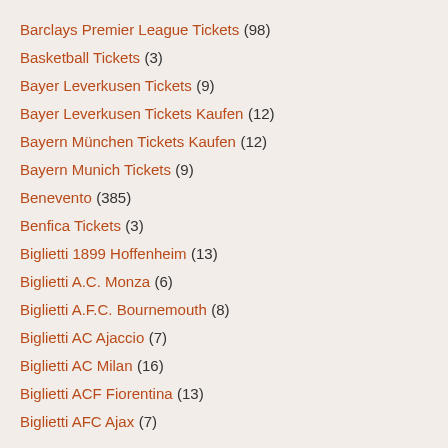Barclays Premier League Tickets (98)
Basketball Tickets (3)
Bayer Leverkusen Tickets (9)
Bayer Leverkusen Tickets Kaufen (12)
Bayern München Tickets Kaufen (12)
Bayern Munich Tickets (9)
Benevento (385)
Benfica Tickets (3)
Biglietti 1899 Hoffenheim (13)
Biglietti A.C. Monza (6)
Biglietti A.F.C. Bournemouth (8)
Biglietti AC Ajaccio (7)
Biglietti AC Milan (16)
Biglietti ACF Fiorentina (13)
Biglietti AFC Ajax (7)